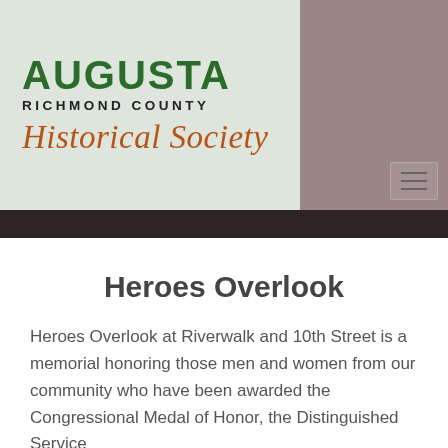[Figure (logo): Augusta Richmond County Historical Society logo — green serif 'AUGUSTA' text, bold black 'RICHMOND COUNTY' beneath, and brown italic script 'Historical Society' on a light sage/cream background]
Heroes Overlook
Heroes Overlook at Riverwalk and 10th Street is a memorial honoring those men and women from our community who have been awarded the Congressional Medal of Honor, the Distinguished Service